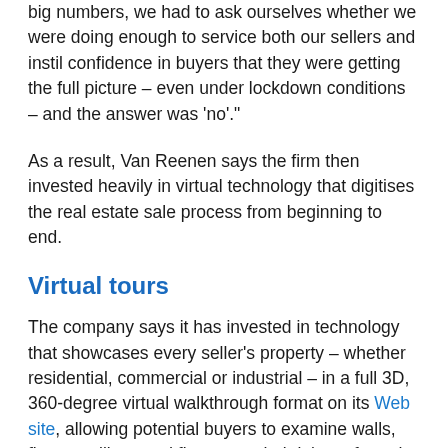big numbers, we had to ask ourselves whether we were doing enough to service both our sellers and instil confidence in buyers that they were getting the full picture – even under lockdown conditions – and the answer was 'no'."
As a result, Van Reenen says the firm then invested heavily in virtual technology that digitises the real estate sale process from beginning to end.
Virtual tours
The company says it has invested in technology that showcases every seller's property – whether residential, commercial or industrial – in a full 3D, 360-degree virtual walkthrough format on its Web site, allowing potential buyers to examine walls, floors, ceilings and fixtures at their leisure from the comfort of their homes or offices.
High Street says it has also extended its bidding